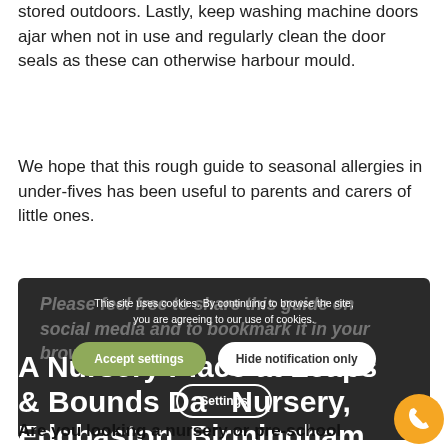stored outdoors. Lastly, keep washing machine doors ajar when not in use and regularly clean the door seals as these can otherwise harbour mould.
We hope that this rough guide to seasonal allergies in under-fives has been useful to parents and carers of little ones.
[Figure (screenshot): Cookie consent overlay on a dark background section. Shows italic bold text 'Please feel free to share this guide on social media and to bookmark it in your browser.' Overlaid with cookie notice: 'This site uses cookies. By continuing to browse the site, you are agreeing to our use of cookies.' with buttons: 'Accept settings', 'Hide notification only', and 'Settings'.]
A Nursery Place at Leaps & Bounds Day Nursery, Edgbaston, Birmingham
Are you looking a nursery or pre-school